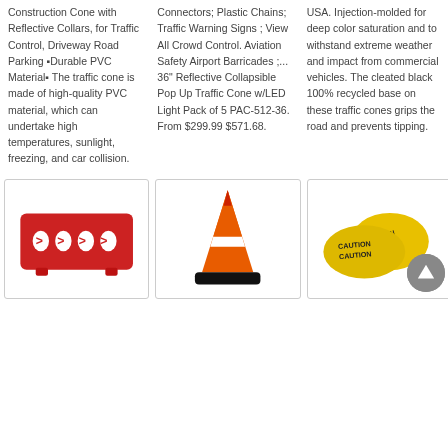Construction Cone with Reflective Collars, for Traffic Control, Driveway Road Parking ▪Durable PVC Material▪ The traffic cone is made of high-quality PVC material, which can undertake high temperatures, sunlight, freezing, and car collision.
Connectors; Plastic Chains; Traffic Warning Signs ; View All Crowd Control. Aviation Safety Airport Barricades ;... 36" Reflective Collapsible Pop Up Traffic Cone w/LED Light Pack of 5 PAC-512-36. From $299.99 $571.68.
USA. Injection-molded for deep color saturation and to withstand extreme weather and impact from commercial vehicles. The cleated black 100% recycled base on these traffic cones grips the road and prevents tipping.
[Figure (photo): Red plastic road barrier with arrow cutouts pointing right]
[Figure (photo): Orange traffic cone with reflective collar and black base]
[Figure (photo): Yellow caution tape rolls]